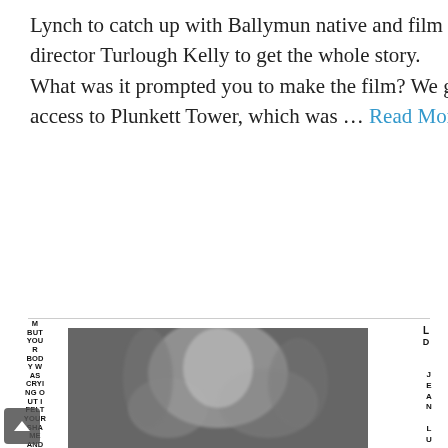Lynch to catch up with Ballymun native and film director Turlough Kelly to get the whole story.   What was it prompted you to make the film? We got access to Plunkett Tower, which was … Read More
[Figure (photo): Black and white blurred/motion photograph of a person, possibly a woman with hair visible, surrounded by abstract blurred forms. Left side has vertical bold text reading: M BUT YOUR BODY WAS CRYING OUT I FELT YOUR SHAME AND YOUR PINK BRIGADE I TOUCHED YOU AND KNEELED HONEST AND NAKED DI. Right side has vertical bold text reading: D (top) and J E A N L U C R A Z Z (bottom).]